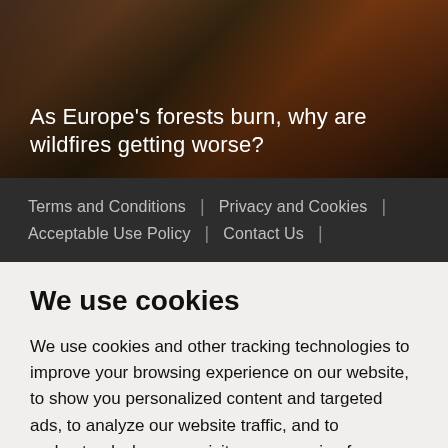[Figure (photo): Hero image of a forest fire scene with dark reddish-orange tones, showing burning vegetation]
As Europe's forests burn, why are wildfires getting worse?
Terms and Conditions | Privacy and Cookies | Acceptable Use Policy | Contact Us |
We use cookies
We use cookies and other tracking technologies to improve your browsing experience on our website, to show you personalized content and targeted ads, to analyze our website traffic, and to understand where our visitors are coming from.